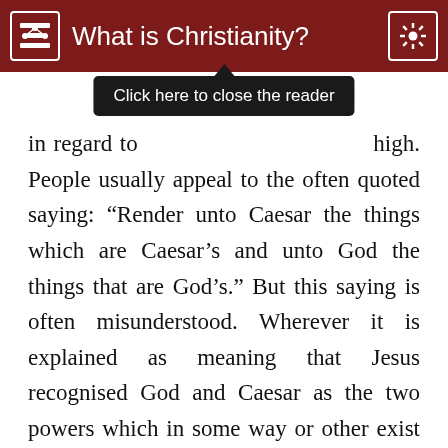What is Christianity?
in regard to [tooltip obscured] high. People usually appeal to the often quoted saying: “Render unto Caesar the things which are Caesar’s and unto God the things that are God’s.” But this saying is often misunderstood. Wherever it is explained as meaning that Jesus recognised God and Caesar as the two powers which in some way or other exist side by side, or are even in secret alliance, it is taken in a wrong sense. Jesus had no such thought; on the contrary, he spoke of the two powers as separate and divorced from each other. God and Caesar are the lords of two quite different provinces. Jesus settled the question that are in